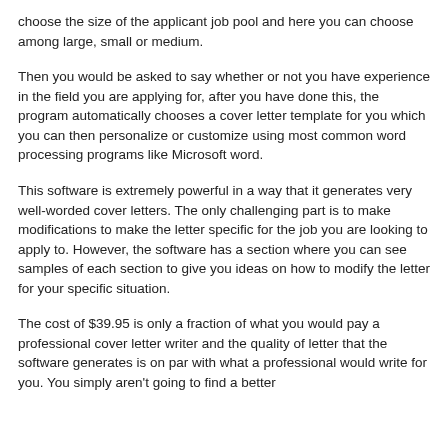choose the size of the applicant job pool and here you can choose among large, small or medium.
Then you would be asked to say whether or not you have experience in the field you are applying for, after you have done this, the program automatically chooses a cover letter template for you which you can then personalize or customize using most common word processing programs like Microsoft word.
This software is extremely powerful in a way that it generates very well-worded cover letters. The only challenging part is to make modifications to make the letter specific for the job you are looking to apply to. However, the software has a section where you can see samples of each section to give you ideas on how to modify the letter for your specific situation.
The cost of $39.95 is only a fraction of what you would pay a professional cover letter writer and the quality of letter that the software generates is on par with what a professional would write for you. You simply aren't going to find a better